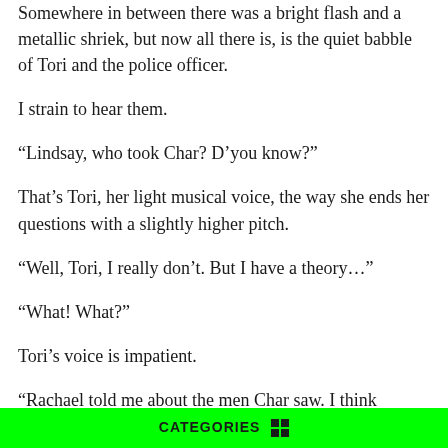I'm sitting in a police car. With Tori and my parents. Somewhere in between there was a bright flash and a metallic shriek, but now all there is, is the quiet babble of Tori and the police officer.
I strain to hear them.
“Lindsay, who took Char? D’you know?”
That’s Tori, her light musical voice, the way she ends her questions with a slightly higher pitch.
“Well, Tori, I really don’t. But I have a theory…”
“What! What?”
Tori’s voice is impatient.
“Rachael told me about the men Char saw. I think they’re Quebecois, trying to run the country.”
CATEGORIES